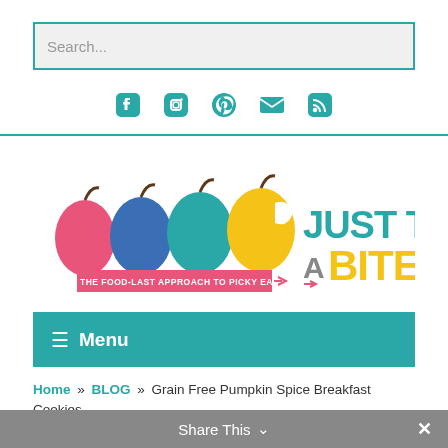Search...
[Figure (other): Social media icons: Facebook, Instagram, Pinterest, Email, RSS — in teal color]
[Figure (logo): Just Take A Bite logo — four apple silhouettes (pink, blue, teal, yellow) with tagline 'THE FOOD-LAST APPROACH TO PICKY EATING!' and large text 'JUST TAKE A BITE']
☰ Menu
Home » BLOG » Grain Free Pumpkin Spice Breakfast Cookies
Share This ∨  ✕